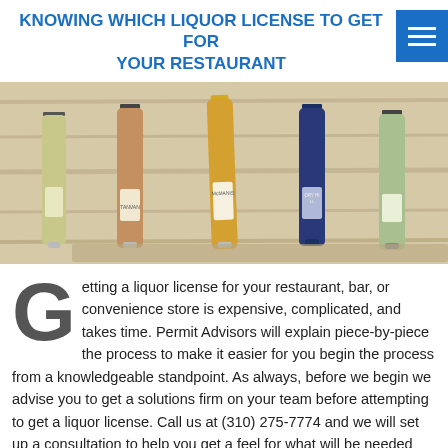KNOWING WHICH LIQUOR LICENSE TO GET FOR YOUR RESTAURANT
[Figure (photo): Five wine bottles lined up against a light wood background, including brands TANYAN, McMANIS, and DRY HILL]
Getting a liquor license for your restaurant, bar, or convenience store is expensive, complicated, and takes time. Permit Advisors will explain piece-by-piece the process to make it easier for you begin the process from a knowledgeable standpoint. As always, before we begin we advise you to get a solutions firm on your team before attempting to get a liquor license. Call us at (310) 275-7774 and we will set up a consultation to help you get a feel for what will be needed with your project. The Types of Liquor